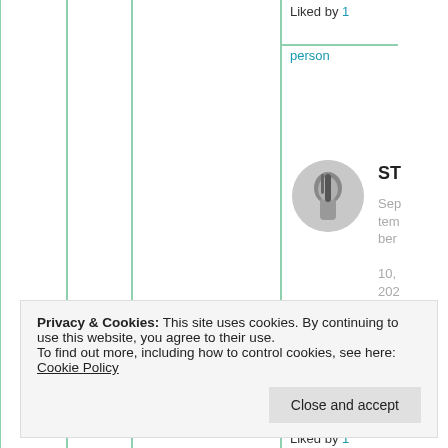Liked by 1
person
[Figure (photo): Circular avatar photo of a person with dark hair, grayscale/monochrome tone]
ST
September 10, 2021 at 7:01
Privacy & Cookies: This site uses cookies. By continuing to use this website, you agree to their use. To find out more, including how to control cookies, see here: Cookie Policy
Close and accept
Liked by 1